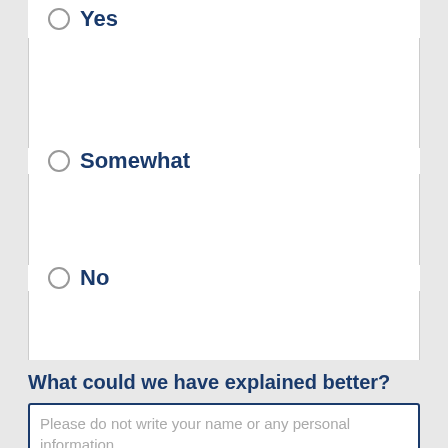Yes
Somewhat
No
What could we have explained better?
Please do not write your name or any personal information.
Submit